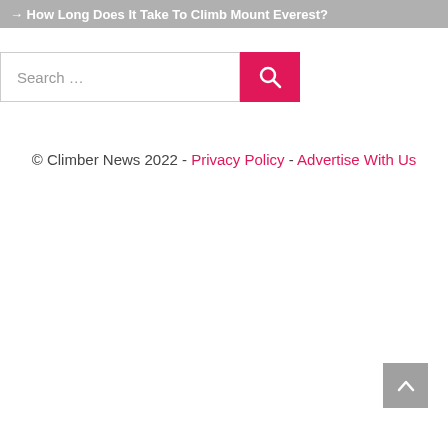How Long Does It Take To Climb Mount Everest?
Search …
© Climber News 2022 - Privacy Policy - Advertise With Us